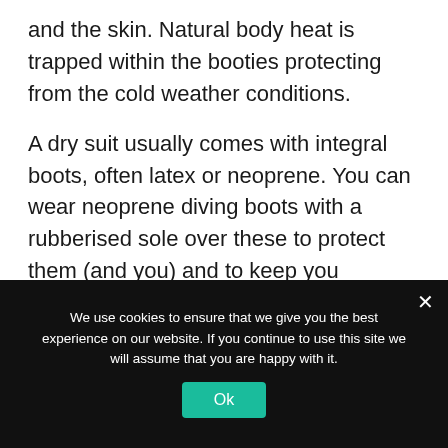and the skin. Natural body heat is trapped within the booties protecting from the cold weather conditions.
A dry suit usually comes with integral boots, often latex or neoprene. You can wear neoprene diving boots with a rubberised sole over these to protect them (and you) and to keep you warmer.
The Hands
We use cookies to ensure that we give you the best experience on our website. If you continue to use this site we will assume that you are happy with it.